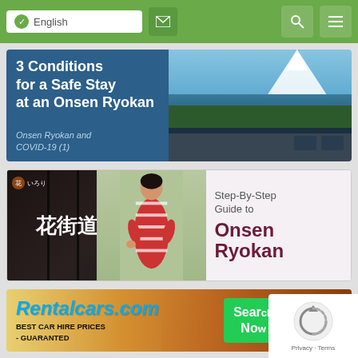[Figure (screenshot): Website navigation bar with green background, English language selector, mail icon, search icon, and menu icon]
[Figure (screenshot): Banner image: '3 Conditions for a Safe Stay at an Onsen Ryokan - Onsen Ryokan and COVID-19 (1)' with blue left panel and scenic photo of pool/ocean view on right]
[Figure (screenshot): Banner image: Step-By-Step Guide to Onsen Ryokan, with Japanese restaurant photo and woman in kimono on left, text on right]
[Figure (screenshot): Rentalcars.com advertisement banner: BEST CAR HIRE PRICES - GUARANTED, with Search Now green button, and reCAPTCHA overlay in bottom right]